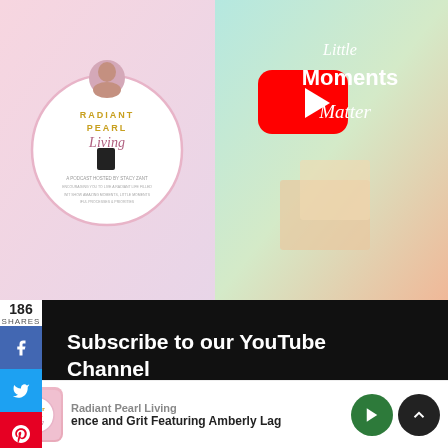[Figure (screenshot): Top image area with Radiant Pearl Living podcast logo on left and YouTube 'Little Moments Matter' thumbnail on right with YouTube play button logo]
186
SHARES
Subscribe to our YouTube Channel
[Figure (infographic): Row of 5 pink social media icons: Facebook, Twitter, YouTube, Pinterest, Instagram]
[Figure (screenshot): Dark bottom bar partially visible]
Radiant Pearl Living
ence and Grit Featuring Amberly Laг